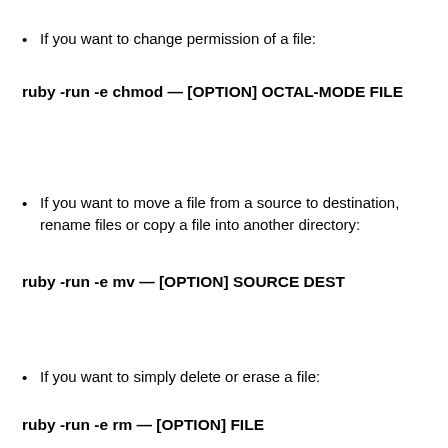If you want to change permission of a file:
ruby -run -e chmod — [OPTION] OCTAL-MODE FILE
If you want to move a file from a source to destination, rename files or copy a file into another directory:
ruby -run -e mv — [OPTION] SOURCE DEST
If you want to simply delete or erase a file:
ruby -run -e rm — [OPTION] FILE